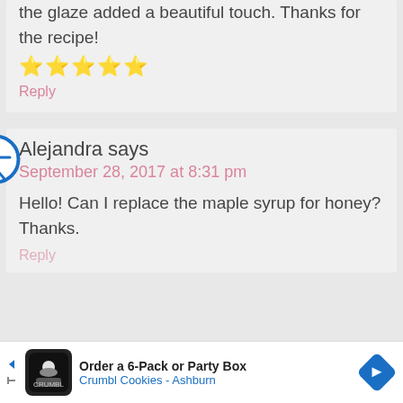the glaze added a beautiful touch. Thanks for the recipe!
[Figure (other): Five gold star rating icons]
Reply
Alejandra says
September 28, 2017 at 8:31 pm
Hello! Can I replace the maple syrup for honey? Thanks.
Reply
[Figure (other): Advertisement banner: Order a 6-Pack or Party Box - Crumbl Cookies - Ashburn]